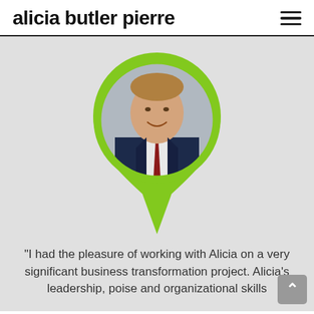alicia butler pierre
[Figure (photo): Professional headshot of a man in a dark navy suit with a red tie, smiling, displayed inside a green map pin / teardrop shape on a grey background.]
"I had the pleasure of working with Alicia on a very significant business transformation project. Alicia's leadership, poise and organizational skills